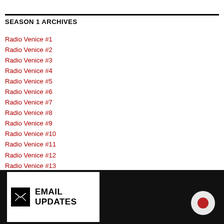SEASON 1 ARCHIVES
Radio Venice #1
Radio Venice #2
Radio Venice #3
Radio Venice #4
Radio Venice #5
Radio Venice #6
Radio Venice #7
Radio Venice #8
Radio Venice #9
Radio Venice #10
Radio Venice #11
Radio Venice #12
Radio Venice #13
EMAIL UPDATES